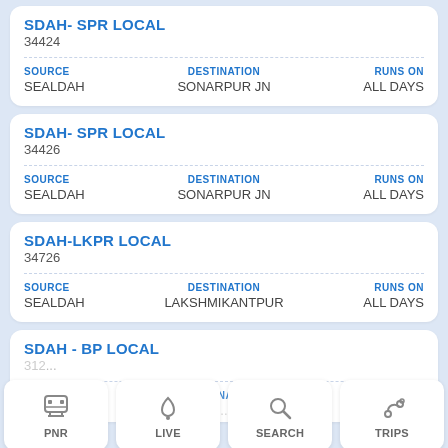SDAH- SPR LOCAL
34424
SOURCE: SEALDAH | DESTINATION: SONARPUR JN | RUNS ON: ALL DAYS
SDAH- SPR LOCAL
34426
SOURCE: SEALDAH | DESTINATION: SONARPUR JN | RUNS ON: ALL DAYS
SDAH-LKPR LOCAL
34726
SOURCE: SEALDAH | DESTINATION: LAKSHMIKANTPUR | RUNS ON: ALL DAYS
SDAH - BP LOCAL
312...
PNR | LIVE | SEARCH | TRIPS